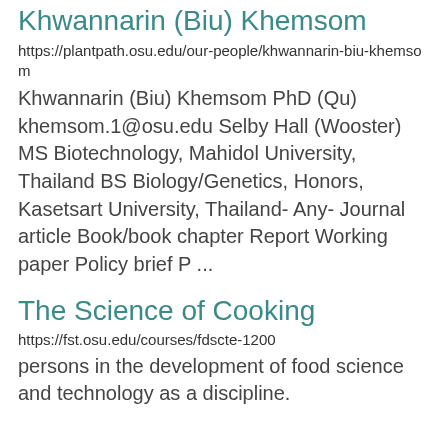Khwannarin (Biu) Khemsom
https://plantpath.osu.edu/our-people/khwannarin-biu-khemsom
Khwannarin (Biu) Khemsom PhD (Qu) khemsom.1@osu.edu Selby Hall (Wooster) MS Biotechnology, Mahidol University, Thailand BS Biology/Genetics, Honors, Kasetsart University, Thailand- Any- Journal article Book/book chapter Report Working paper Policy brief P ...
The Science of Cooking
https://fst.osu.edu/courses/fdscte-1200
persons in the development of food science and technology as a discipline.